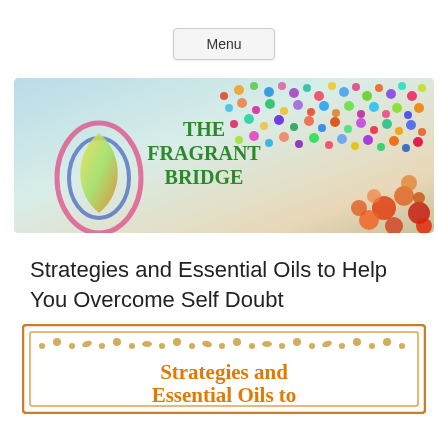[Figure (logo): Menu button - a rounded rectangle button labeled 'Menu']
[Figure (illustration): The Fragrant Bridge website banner with colorful abstract art, a teardrop/oil drop illustration on the left, scattered colorful dots in the center, and orange/red flowers on right. Text reads 'THE FRAGRANT BRIDGE' in green and 'Creating a fragrant bridge to your true self' in red italic.]
Strategies and Essential Oils to Help You Overcome Self Doubt
[Figure (illustration): Decorative card with orange border and floral/botanical ornaments. Card title reads 'Strategies and Essential Oils to' in orange serif font.]